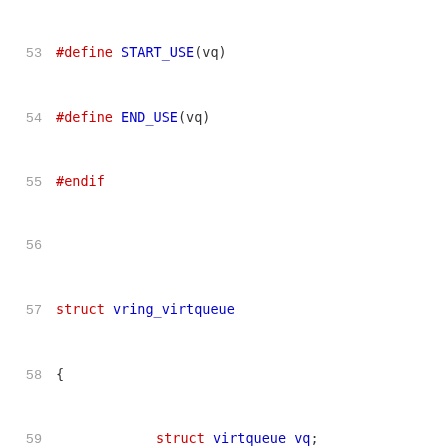Source code listing showing struct vring_virtqueue definition, lines 53-73
53  #define START_USE(vq)
54  #define END_USE(vq)
55  #endif
56
57  struct vring_virtqueue
58  {
59          struct virtqueue vq;
60
61          /* Actual memory layout for this queue
62          struct vring vring;
63
64          /* Can we use weak barriers? */
65          bool weak_barriers;
66
67          /* Other side has made a mess, don't try
68          bool broken;
69
70          /* Host supports indirect buffers */
71          bool indirect;
72
73          /* Host publishes avail event idx */